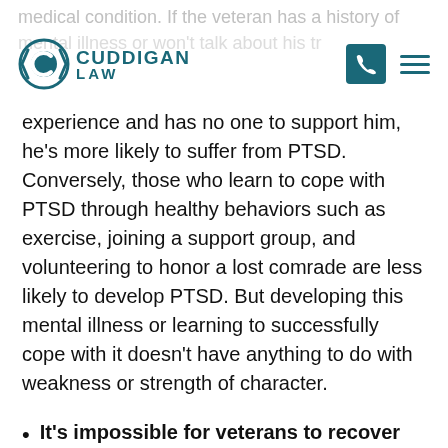Cuddigan Law – website header with logo and navigation icons
experience and has no one to support him, he's more likely to suffer from PTSD. Conversely, those who learn to cope with PTSD through healthy behaviors such as exercise, joining a support group, and volunteering to honor a lost comrade are less likely to develop PTSD. But developing this mental illness or learning to successfully cope with it doesn't have anything to do with weakness or strength of character.
It's impossible for veterans to recover from PTSD. This myth is possibly the most destructive for veterans, as it perpetuates an idea that's completely not true and drives…